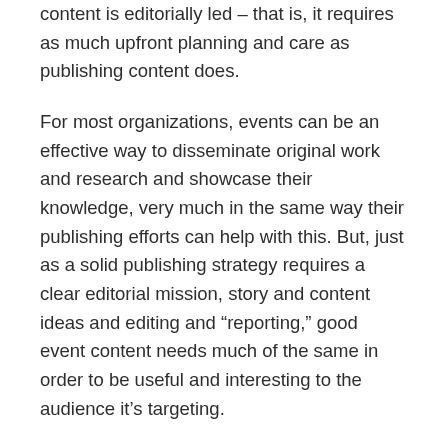content is editorially led – that is, it requires as much upfront planning and care as publishing content does.
For most organizations, events can be an effective way to disseminate original work and research and showcase their knowledge, very much in the same way their publishing efforts can help with this. But, just as a solid publishing strategy requires a clear editorial mission, story and content ideas and editing and “reporting,” good event content needs much of the same in order to be useful and interesting to the audience it’s targeting.
Events are difficult to do. It’s hard to control how speakers will speak and how audiences will react – and there are plenty of opportunities at the